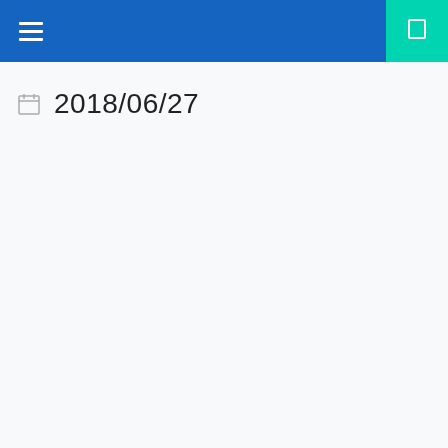Navigation header with hamburger menu and notification icon
2018/06/27